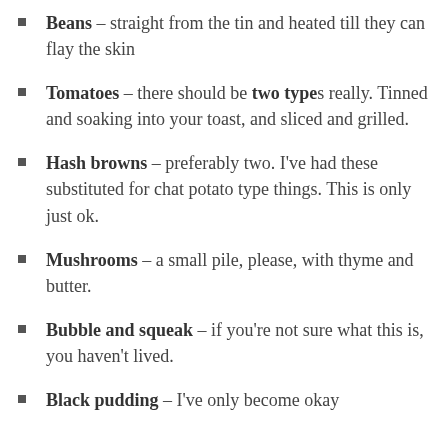Beans – straight from the tin and heated till they can flay the skin
Tomatoes – there should be two types really. Tinned and soaking into your toast, and sliced and grilled.
Hash browns – preferably two. I've had these substituted for chat potato type things. This is only just ok.
Mushrooms – a small pile, please, with thyme and butter.
Bubble and squeak – if you're not sure what this is, you haven't lived.
Black pudding – I've only become okay